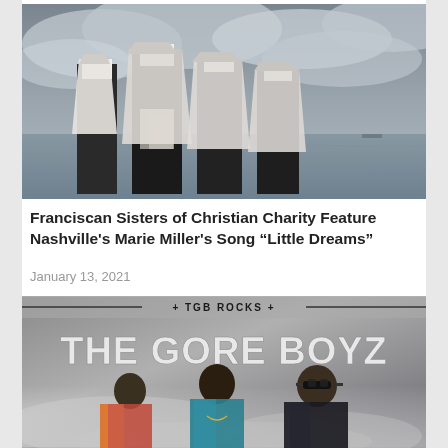[Figure (photo): Four nuns in black and white habits standing with their backs to the camera, looking out over a grey sea under a cloudy sky.]
Franciscan Sisters of Christian Charity Feature Nashville’s Marie Miller’s Song “Little Dreams”
January 13, 2021
[Figure (photo): Promotional image for 'The Gore Boyz' (TGB Rocks). Three young men pose against a smoky metallic background. Large bold text reads 'THE GORE BOYZ' with '+ TGB ROCKS +' above it.]